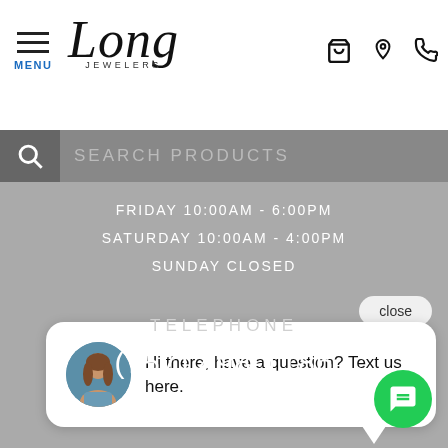[Figure (screenshot): Long Jewelers website header with hamburger menu, logo, cart, location, and phone icons]
SEARCH PRODUCTS
FRIDAY 10:00AM - 6:00PM
SATURDAY 10:00AM - 4:00PM
SUNDAY CLOSED
close
Hi there, have a question? Text us here.
TELEPHONE
(757) 498-1186